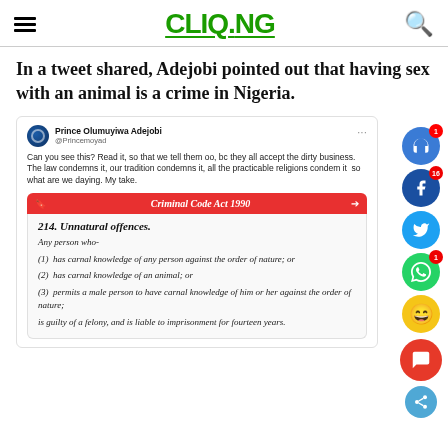CLIQ.NG
In a tweet shared, Adejobi pointed out that having sex with an animal is a crime in Nigeria.
[Figure (screenshot): Tweet by Prince Olumuyiwa Adejobi (@Princemoyad) with embedded image of Criminal Code Act 1990, Section 214 on Unnatural offences]
Can you see this? Read it, so that we tell them oo, bc they all accept the dirty business. The law condemns it, our tradition condemns it, all the practicable religions condem it so what are we daying. My take.
Criminal Code Act 1990
214. Unnatural offences.

Any person who-

(1) has carnal knowledge of any person against the order of nature; or

(2) has carnal knowledge of an animal; or

(3) permits a male person to have carnal knowledge of him or her against the order of nature;

is guilty of a felony, and is liable to imprisonment for fourteen years.